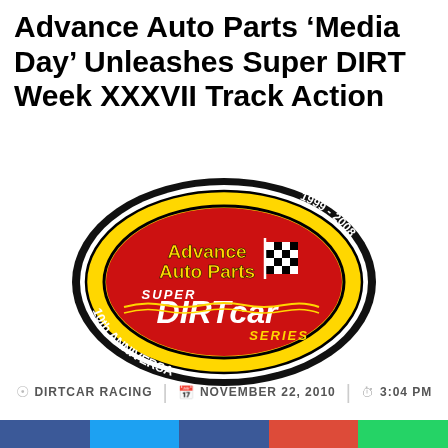Advance Auto Parts ‘Media Day’ Unleashes Super DIRT Week XXXVII Track Action
[Figure (logo): Advance Auto Parts Super DIRTcar Series 10th Anniversary logo (1999-2008). Oval shaped logo with black outer ring, yellow inner oval, red center oval. Features 'Advance Auto Parts' text with checkered flag, 'Super DIRTcar Series' text. '1999 - 2008' on top right, '10th Anniversary' on bottom left.]
DIRTCAR RACING  |  NOVEMBER 22, 2010  |  3:04 PM